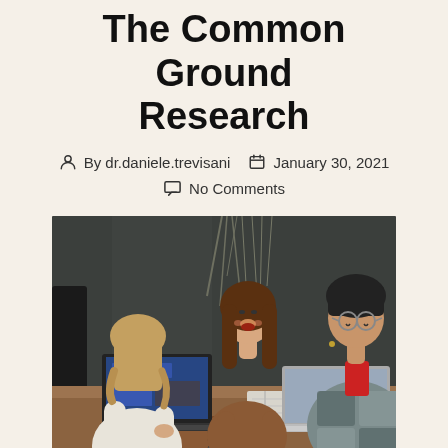The Common Ground Research
By dr.daniele.trevisani   January 30, 2021   No Comments
[Figure (photo): Three people sitting around a wooden table with laptops, notebooks, and drinks. Two women and one person with glasses are laughing and collaborating. Background has dark walls with dried grass decor.]